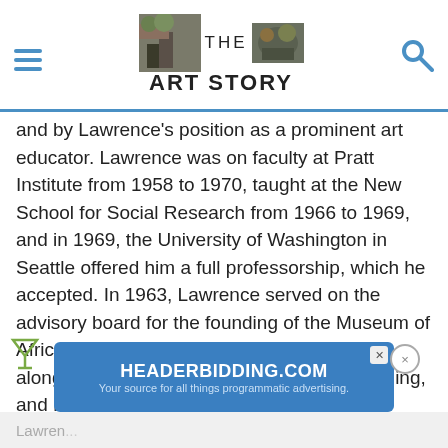THE ART STORY
and by Lawrence's position as a prominent art educator. Lawrence was on faculty at Pratt Institute from 1958 to 1970, taught at the New School for Social Research from 1966 to 1969, and in 1969, the University of Washington in Seattle offered him a full professorship, which he accepted. In 1963, Lawrence served on the advisory board for the founding of the Museum of African Art in Washington, D.C., and, in 1976, along with Romare Bearden, Willem de Kooning, and Bill Caldwell, Lawrence co-founded the Rainbow Art Foundation, an organization dedicated to helping young printmakers from minority backgrounds. Lawrence's educational mission extended until the end of his life: in 1999, he and Gwendolyn established the Jacob and Gwendolyn Lawrence Foundation to promote and support American art.
[Figure (other): Advertisement banner for HEADERBIDDING.COM with text 'Your source for all things programmatic advertising.']
Lawren...